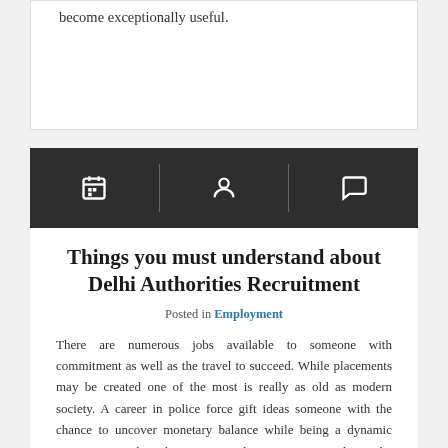become exceptionally useful.
[Figure (other): Dark meta bar with three icons: calendar, person/user, and speech bubble comment icon, separated by vertical dividers]
Things you must understand about Delhi Authorities Recruitment
Posted in Employment
There are numerous jobs available to someone with commitment as well as the travel to succeed. While placements may be created one of the most is really as old as modern society. A career in police force gift ideas someone with the chance to uncover monetary balance while being a dynamic participant on the enhancement in the community. As being the next technology of authority's official is needed on the